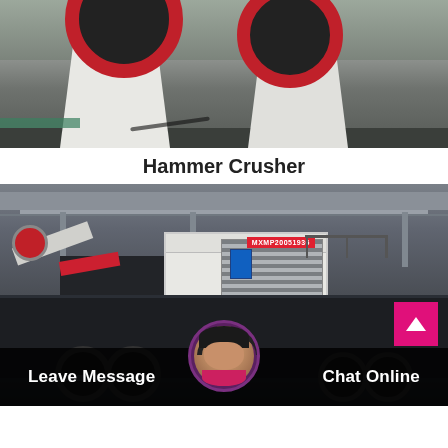[Figure (photo): Industrial photo of two white Hammer Crusher machines with large red flywheels on a factory floor]
Hammer Crusher
[Figure (photo): Photo of a large mobile crushing station (labeled MXMP20051936) on a truck chassis inside an industrial warehouse]
Leave Message
Chat Online